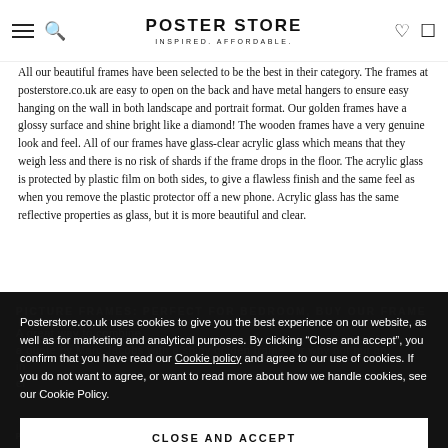POSTER STORE — INSPIRED. AFFORDABLE.
All our beautiful frames have been selected to be the best in their category. The frames at posterstore.co.uk are easy to open on the back and have metal hangers to ensure easy hanging on the wall in both landscape and portrait format. Our golden frames have a glossy surface and shine bright like a diamond! The wooden frames have a very genuine look and feel. All of our frames have glass-clear acrylic glass which means that they weigh less and there is no risk of shards if the frame drops in the floor. The acrylic glass is protected by plastic film on both sides, to give a flawless finish and the same feel as when you remove the plastic protector off a new phone. Acrylic glass has the same reflective properties as glass, but it is more beautiful and clear.
Posterstore.co.uk uses cookies to give you the best experience on our website, as well as for marketing and analytical purposes. By clicking “Close and accept”, you confirm that you have read our Cookie policy and agree to our use of cookies. If you do not want to agree, or want to read more about how we handle cookies, see our Cookie Policy.
CLOSE AND ACCEPT
PICTURE FRAMES: PERFECT FOR BEDROOM, BUY OUR FRAME
purchases over £39.